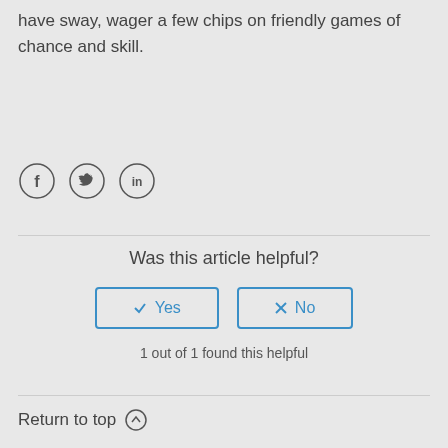have sway, wager a few chips on friendly games of chance and skill.
[Figure (illustration): Social media share icons: Facebook (f), Twitter (bird), LinkedIn (in) — circular outlined icons]
Was this article helpful?
✓ Yes   ✗ No
1 out of 1 found this helpful
Return to top ↑